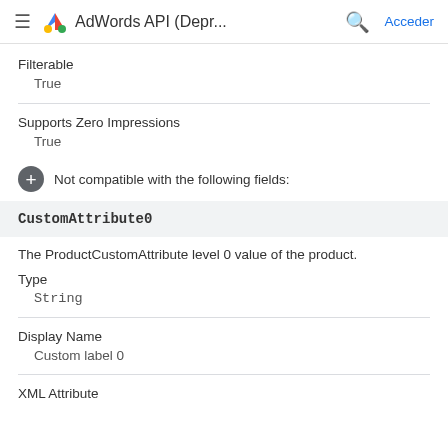AdWords API (Depr... Acceder
Filterable
True
Supports Zero Impressions
True
Not compatible with the following fields:
CustomAttribute0
The ProductCustomAttribute level 0 value of the product.
Type
String
Display Name
Custom label 0
XML Attribute